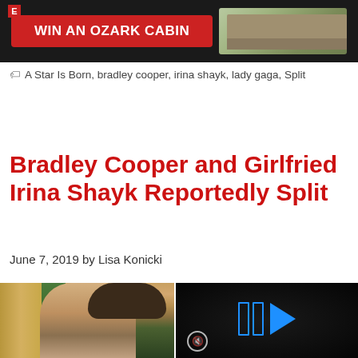[Figure (screenshot): Advertisement banner: 'WIN AN OZARK CABIN' red button with cabin photo on dark background]
A Star Is Born, bradley cooper, irina shayk, lady gaga, Split
Bradley Cooper and Girlfried Irina Shayk Reportedly Split
June 7, 2019 by Lisa Konicki
[Figure (photo): Left: woman (Irina Shayk) smiling in gold dress with green foliage background. Right: dark video player with blue play button and mute icon.]